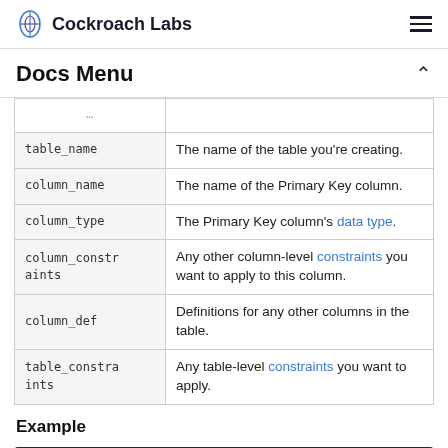Cockroach Labs
Docs Menu
| Parameter | Description |
| --- | --- |
| table_name | The name of the table you're creating. |
| column_name | The name of the Primary Key column. |
| column_type | The Primary Key column's data type. |
| column_constraints | Any other column-level constraints you want to apply to this column. |
| column_def | Definitions for any other columns in the table. |
| table_constraints | Any table-level constraints you want to apply. |
Example